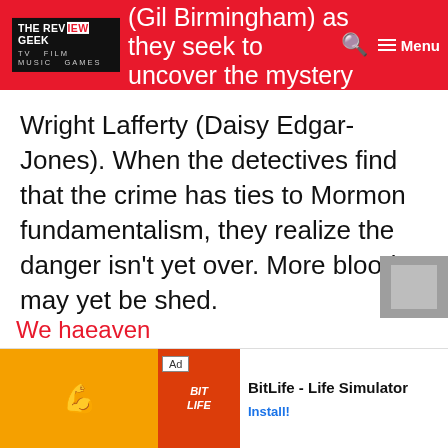THE REVIEW GEEK — TV FILM MUSIC GAMES
(Gil Birmingham) as they seek to uncover the mystery of who murdered the young Mormon woman, Brenda Wright Lafferty (Daisy Edgar-Jones). When the detectives find that the crime has ties to Mormon fundamentalism, they realize the danger isn't yet over. More blood may yet be shed.
[Figure (screenshot): Advertisement banner for BitLife - Life Simulator app with orange and yellow graphic elements and Install button]
We ha... eaven